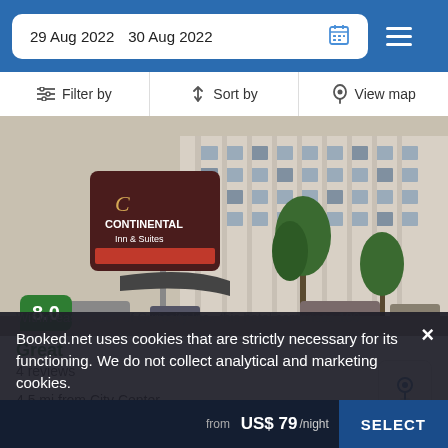29 Aug 2022  30 Aug 2022
Filter by  |  Sort by  |  View map
[Figure (photo): Exterior photo of Continental Inn & Suites hotel building with signage visible in foreground]
8.0
Great
4 reviews
4.5 mi from City Center
1000 yd from Cougar Creek Golf Resort
Within easy reach of Curiosity Inc., this hotel comprises 100
Booked.net uses cookies that are strictly necessary for its functioning. We do not collect analytical and marketing cookies.
from  US$ 79/night  SELECT